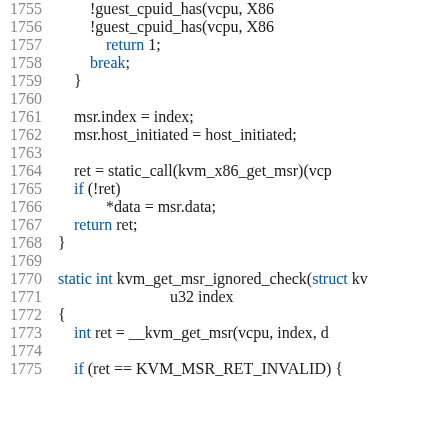[Figure (screenshot): Source code screenshot showing C code lines 1755-1775, including guest_cpuid_has calls, msr operations, static_call, return statements, and kvm_get_msr_ignored_check function definition]